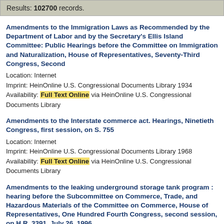Results: 102700 records.
Amendments to the Immigration Laws as Recommended by the Department of Labor and by the Secretary's Ellis Island Committee: Public Hearings before the Committee on Immigration and Naturalization, House of Representatives, Seventy-Third Congress, Second
Location: Internet
Imprint: HeinOnline U.S. Congressional Documents Library 1934
Availability: Full Text Online via HeinOnline U.S. Congressional Documents Library
Amendments to the Interstate commerce act. Hearings, Ninetieth Congress, first session, on S. 755
Location: Internet
Imprint: HeinOnline U.S. Congressional Documents Library 1968
Availability: Full Text Online via HeinOnline U.S. Congressional Documents Library
Amendments to the leaking underground storage tank program : hearing before the Subcommittee on Commerce, Trade, and Hazardous Materials of the Committee on Commerce, House of Representatives, One Hundred Fourth Congress, second session, on H.R. 3391, July 26, 1996.
Author: United States. Congress. House. Committee on Commerce. Subcommittee on Commerce, Trade, and Hazardous Materials.
Location: Internet